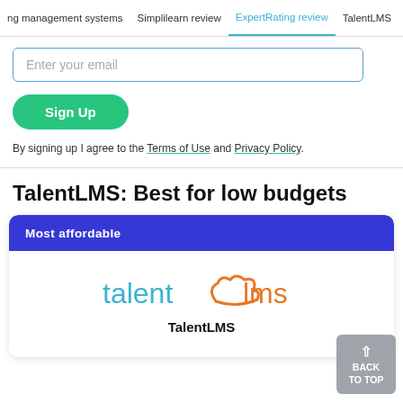ng management systems  Simplilearn review  ExpertRating review  TalentLMS
Enter your email
Sign Up
By signing up I agree to the Terms of Use and Privacy Policy.
TalentLMS: Best for low budgets
[Figure (logo): TalentLMS logo with teal 'talent' text, orange cloud arc, and orange 'lms' text]
Most affordable
TalentLMS